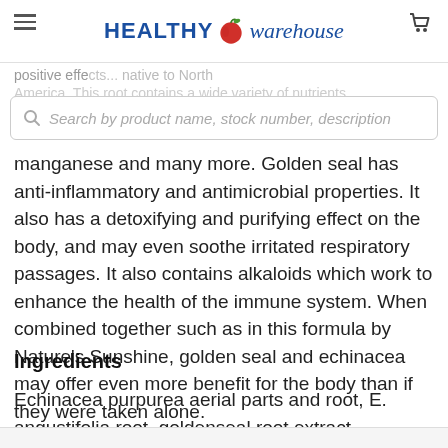HEALTHY warehouse
positive effects... native to North America. This root contains a wide variety of nutrients...
Search by product name, stock number, description
manganese and many more. Golden seal has anti-inflammatory and antimicrobial properties. It also has a detoxifying and purifying effect on the body, and may even soothe irritated respiratory passages. It also contains alkaloids which work to enhance the health of the immune system. When combined together such as in this formula by Nature's Sunshine, golden seal and echinacea may offer even more benefit for the body than if they were taken alone.
Ingredients
Echinacea purpurea aerial parts and root, E. angustifolia root, goldenseal root extract.